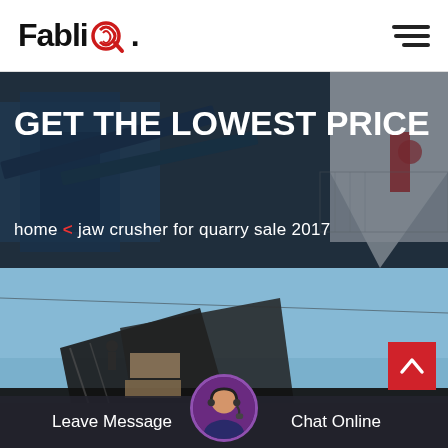FabliQ
[Figure (photo): Industrial crusher and mining equipment facility with large blue machinery and conveyor belts, dark overlay. Text overlay reads: GET THE LOWEST PRICE. Breadcrumb: home < jaw crusher for quarry sale 2017]
GET THE LOWEST PRICE
home < jaw crusher for quarry sale 2017
[Figure (photo): Outdoor industrial site with dark machinery structures and scaffolding under a blue sky. A worker is visible. Bottom bar with Leave Message and Chat Online buttons, and a customer service avatar.]
Leave Message
Chat Online